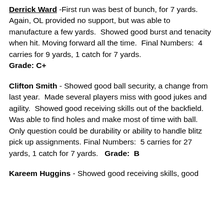Derrick Ward -First run was best of bunch, for 7 yards. Again, OL provided no support, but was able to manufacture a few yards. Showed good burst and tenacity when hit. Moving forward all the time. Final Numbers: 4 carries for 9 yards, 1 catch for 7 yards. Grade: C+
Clifton Smith - Showed good ball security, a change from last year. Made several players miss with good jukes and agility. Showed good receiving skills out of the backfield. Was able to find holes and make most of time with ball. Only question could be durability or ability to handle blitz pick up assignments. Final Numbers: 5 carries for 27 yards, 1 catch for 7 yards. Grade: B
Kareem Huggins - Showed good receiving skills, good